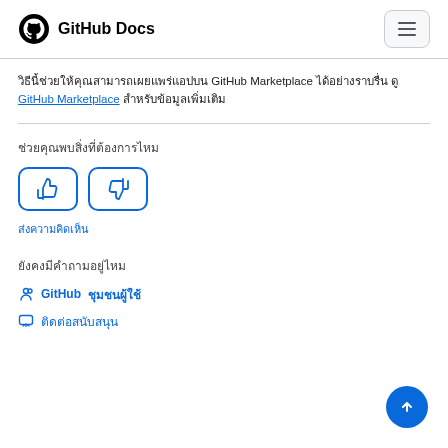GitHub Docs
วิธีนี้ช่วยให้คุณสามารถเผยแพร่แอปบน GitHub Marketplace ได้อย่างราบรื่น ดู GitHub Marketplace สำหรับข้อมูลเพิ่มเติม
ช่วยคุณพบสิ่งที่ต้องการไหม
ส่งความคิดเห็น
ยังคงมีคำถามอยู่ไหม
GitHub ชุมชนผู้ใช้
ติดต่อสนับสนุน